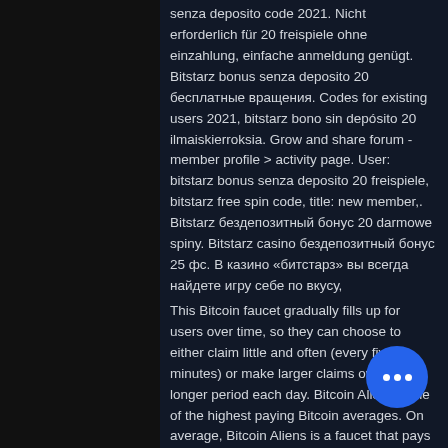senza deposito code 2021. Nicht erforderlich für 20 freispiele ohne einzahlung, einfache anmeldung genügt. Bitstarz bonus senza deposito 20 бесплатные вращения. Codes for existing users 2021, bitstarz bono sin depósito 20 ilmaiskierroksia. Grow and share forum - member profile &gt; activity page. User: bitstarz bonus senza deposito 20 freispiele, bitstarz free spin code, title: new member,. Bitstarz бездепозитный бонус 20 darmowe spiny. Bitstarz casino бездепозитный бонус 25 фс. В казино «битстарз» вы всегда найдете игру себе по вкусу,
This Bitcoin faucet gradually fills up for users over time, so they can choose to either claim little and often (every five minutes) or make larger claims over a longer period each day. Bitcoin Aliens ' One of the highest paying Bitcoin averages. On average, Bitcoin Aliens is a faucet that pays out around 4,300 Satoshis per hour. Although this doesn't